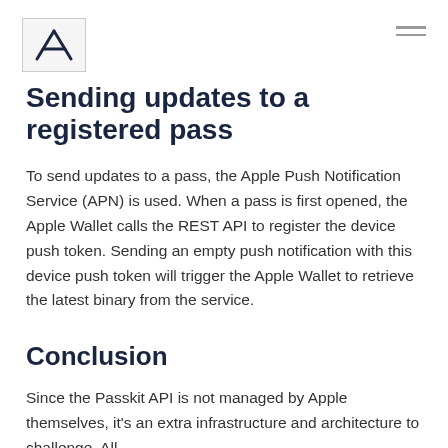Sending updates to a registered pass
To send updates to a pass, the Apple Push Notification Service (APN) is used. When a pass is first opened, the Apple Wallet calls the REST API to register the device push token. Sending an empty push notification with this device push token will trigger the Apple Wallet to retrieve the latest binary from the service.
Conclusion
Since the Passkit API is not managed by Apple themselves, it's an extra infrastructure and architecture to challenge. All